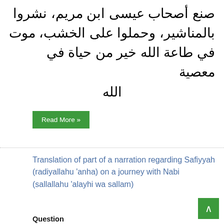صنع أصحاب عيسى ابن مريم، نُشروا بالمناشير، وحملوا على الخشب، موت في طاعة الله خير من حياة في معصية الله
Read More »
Translation of part of a narration regarding Safiyyah (radiyallahu 'anha) on a journey with Nabi (sallallahu 'alayhi wa sallam)
Question
Can you please translate this narration and is it authentic?
كانت صفية مع رسول الله صلى الله عليه وسلم في سفر وكان ذلك يومها فأبطأت في المسير فاستقبلها رسول